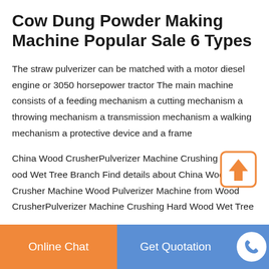Cow Dung Powder Making Machine Popular Sale 6 Types
The straw pulverizer can be matched with a motor diesel engine or 3050 horsepower tractor The main machine consists of a feeding mechanism a cutting mechanism a throwing mechanism a transmission mechanism a walking mechanism a protective device and a frame
China Wood CrusherPulverizer Machine Crushing Hard Wood Wet Tree Branch Find details about China Wood Crusher Machine Wood Pulverizer Machine from Wood CrusherPulverizer Machine Crushing Hard Wood Wet Tree
Online Chat | Get Quotation